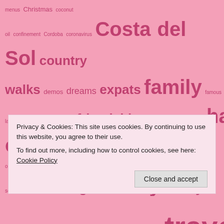[Figure (infographic): Tag cloud on pink background with various travel, lifestyle, and natural beauty topics in varying font sizes in dark pink/mauve color. Tags include: menus, Christmas, coconut oil, confinement, Cordoba, coronavirus, Costa del Sol, country walks, demos, dreams, expats, family, famous landmarks, food, friends, friendships, Granada, hair, hair care, hair oiling, handmade soap, henna, hiking, holidays, Holy Week, Holy Week processions, homemade soap, humor, Kindle books, La Linea de la Concepcion, life, lockdown, Malaga, Malaga history, Montes de Malaga, music, natural beauty, natural cosmetics, natural hair care, natural health, natural lifestyle, natural oils, Natural Skin and Hair Care, natural skincare, natural soap, Nerja, New Age music, night, no poo, olive oil, olive oil soap, parades, peace, photography, subways, summer, thrillers, Torremolinos, travel, urban]
Privacy & Cookies: This site uses cookies. By continuing to use this website, you agree to their use.
To find out more, including how to control cookies, see here: Cookie Policy